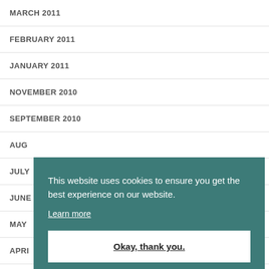MARCH 2011
FEBRUARY 2011
JANUARY 2011
NOVEMBER 2010
SEPTEMBER 2010
AUGU...
JULY
JUNE
MAY
APRI...
This website uses cookies to ensure you get the best experience on our website.
Learn more
Okay, thank you.